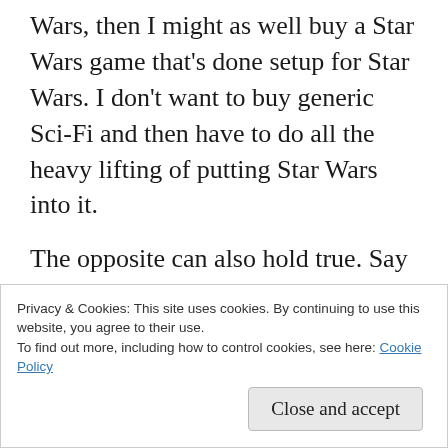Wars, then I might as well buy a Star Wars game that's done setup for Star Wars. I don't want to buy generic Sci-Fi and then have to do all the heavy lifting of putting Star Wars into it.
The opposite can also hold true. Say you are selling Game of Thrones the RPG. I don't want to play GoT, So I'm not going to buy your RPG. However I still like the concept of GoT in a broader sense so I'd be more inclined to support a generic fantasy RPG that emulates
Privacy & Cookies: This site uses cookies. By continuing to use this website, you agree to their use.
To find out more, including how to control cookies, see here: Cookie Policy
Close and accept